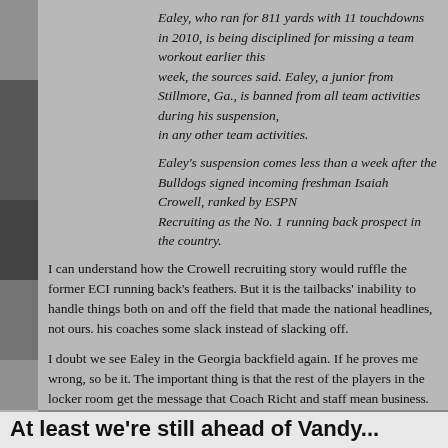[Figure (photo): Sports photo on the left side margin showing football players]
Ealey, who ran for 811 yards with 11 touchdowns in 2010, is being disciplined for missing a team workout earlier this week, the sources said. Ealey, a junior from Stillmore, Ga., is banned from all team activities during his suspension, including practice or participation in any other team activities.
Ealey's suspension comes less than a week after the Bulldogs signed incoming freshman Isaiah Crowell, who was ranked by ESPN Recruiting as the No. 1 running back prospect in the country.
I can understand how the Crowell recruiting story would ruffle the former ECI running back's feathers. But it's the tailbacks' inability to handle things both on and off the field that made the national headlines, not ours. He needs to cut his coaches some slack instead of slacking off.
I doubt we see Ealey in the Georgia backfield again. If he proves me wrong, so be it. The important thing is that the rest of the players in the locker room get the message that Coach Richt and staff mean business.
And to be fair, it's a message that should have been given a while back quite frankly.
Hunker'd Down by Bernie at 9:59 AM   0 Comments
Dawg Tags: Coach Mark Richt, RB position, this rotgut moonshine is making m...
At least we're still ahead of Vandy...